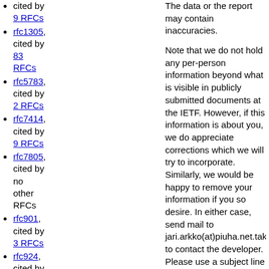cited by 9 RFCs
rfc1305, cited by 83 RFCs
rfc5783, cited by 2 RFCs
rfc7414, cited by 9 RFCs
rfc7805, cited by no other RFCs
rfc901, cited by 3 RFCs
rfc924, cited by 3 RFCs
rfc944, cited by 4 RFCs
rfc956, cited by
The data or the report may contain inaccuracies. Note that we do not hold any per-person information beyond what is visible in publicly submitted documents at the IETF. However, if this information is about you, we do appreciate corrections which we will try to incorporate. Similarly, we would be happy to remove your information if you so desire. In either case, send mail to jari.arkko(at)piuha.net.takeaway to contact the developer. Please use a subject line that includes the word authorstats. Our privacy policy can be found in here.